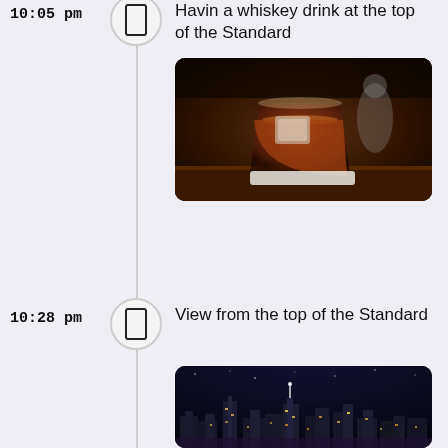10:05 pm
Havin a whiskey drink at the top of the Standard
[Figure (photo): A whiskey drink in a lowball glass with ice on a wooden bar surface, dark atmospheric bar setting]
10:28 pm
View from the top of the Standard
[Figure (photo): Night skyline view from rooftop bar showing city lights and buildings at night]